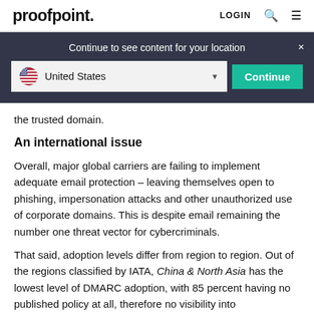proofpoint. LOGIN
Continue to see content for your location
United States
Continue
the trusted domain.
An international issue
Overall, major global carriers are failing to implement adequate email protection – leaving themselves open to phishing, impersonation attacks and other unauthorized use of corporate domains. This is despite email remaining the number one threat vector for cybercriminals.
That said, adoption levels differ from region to region. Out of the regions classified by IATA, China & North Asia has the lowest level of DMARC adoption, with 85 percent having no published policy at all, therefore no visibility into